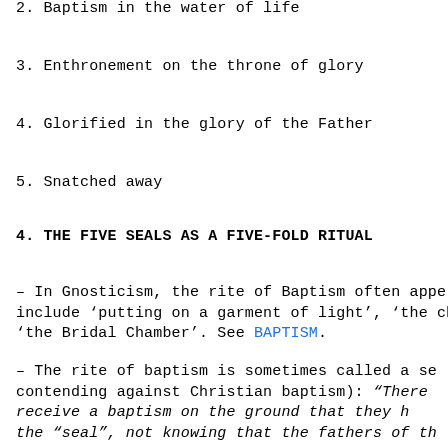2. Baptism in the water of life
3. Enthronement on the throne of glory
4. Glorified in the glory of the Father
5. Snatched away
4. THE FIVE SEALS AS A FIVE-FOLD RITUAL
- In Gnosticism, the rite of Baptism often appe include ‘putting on a garment of light’, ‘the ch ‘the Bridal Chamber’. See BAPTISM.
- The rite of baptism is sometimes called a se contending against Christian baptism): “There receive a baptism on the ground that they h the “seal”, not knowing that the fathers of th